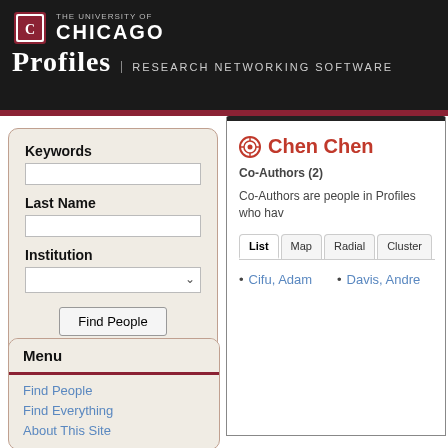THE UNIVERSITY OF CHICAGO — PROFILES Research Networking Software
Keywords
Last Name
Institution
Find People
More Search Options
Menu
Find People
Find Everything
About This Site
Chen Chen
Co-Authors (2)
Co-Authors are people in Profiles who hav...
Cifu, Adam
Davis, Andre